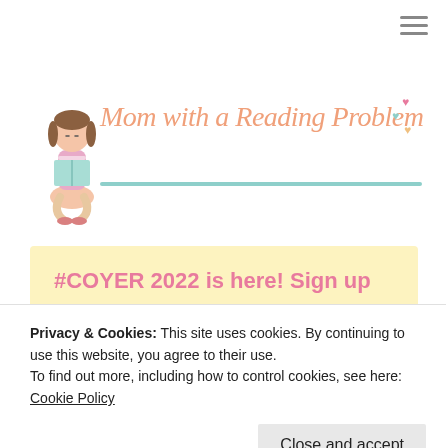[Figure (logo): Illustrated girl reading a book, sitting cross-legged, with brown pigtails, wearing pink and teal clothing. Blog logo for 'Mom with a Reading Problem'.]
Mom with a Reading Problem
#COYER 2022 is here! Sign up
Privacy & Cookies: This site uses cookies. By continuing to use this website, you agree to their use.
To find out more, including how to control cookies, see here: Cookie Policy
Close and accept
Waiting on Wednesday #51